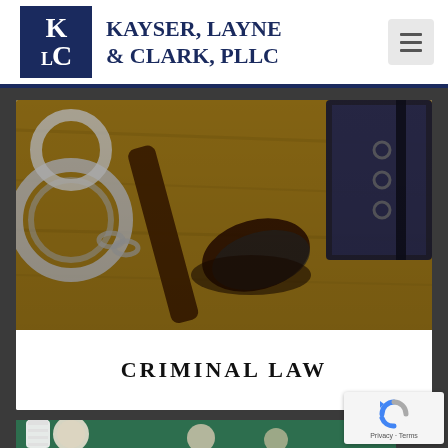[Figure (logo): KLC logo — dark navy square with stylized K L C letters in white serif font]
KAYSER, LAYNE & CLARK, PLLC
[Figure (photo): Close-up photo of a judge's gavel and handcuffs on a wooden surface with a dark binder in the background — law/criminal law imagery]
CRIMINAL LAW
[Figure (photo): Partial photo at bottom of page showing what appears to be pills or medical/legal items on a green background]
[Figure (other): Google reCAPTCHA badge in bottom-right corner with Privacy and Terms links]